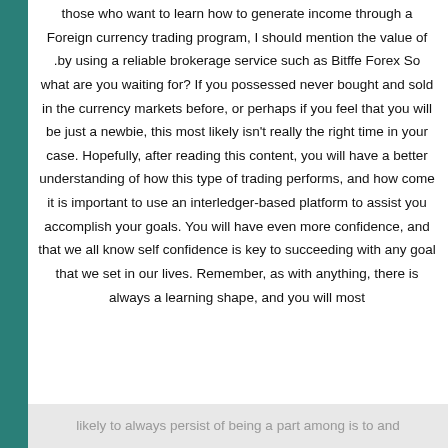those who want to learn how to generate income through a Foreign currency trading program, I should mention the value of .by using a reliable brokerage service such as Bitffe Forex So what are you waiting for? If you possessed never bought and sold in the currency markets before, or perhaps if you feel that you will be just a newbie, this most likely isn't really the right time in your case. Hopefully, after reading this content, you will have a better understanding of how this type of trading performs, and how come it is important to use an interledger-based platform to assist you accomplish your goals. You will have even more confidence, and that we all know self confidence is key to succeeding with any goal that we set in our lives. Remember, as with anything, there is always a learning shape, and you will most
likely to always persist of being a part among is to and